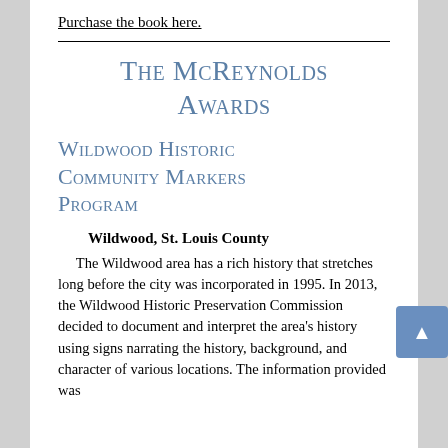Purchase the book here.
The McReynolds Awards
Wildwood Historic Community Markers Program
Wildwood, St. Louis County
	The Wildwood area has a rich history that stretches long before the city was incorporated in 1995. In 2013, the Wildwood Historic Preservation Commission decided to document and interpret the area's history using signs narrating the history, background, and character of various locations. The information provided was